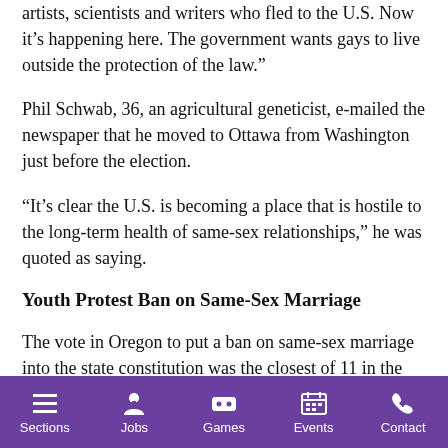artists, scientists and writers who fled to the U.S. Now it’s happening here. The government wants gays to live outside the protection of the law.”
Phil Schwab, 36, an agricultural geneticist, e-mailed the newspaper that he moved to Ottawa from Washington just before the election.
“It’s clear the U.S. is becoming a place that is hostile to the long-term health of same-sex relationships,” he was quoted as saying.
Youth Protest Ban on Same-Sex Marriage
The vote in Oregon to put a ban on same-sex marriage into the state constitution was the closest of 11 in the country,
Sections  Jobs  Games  Events  Contact